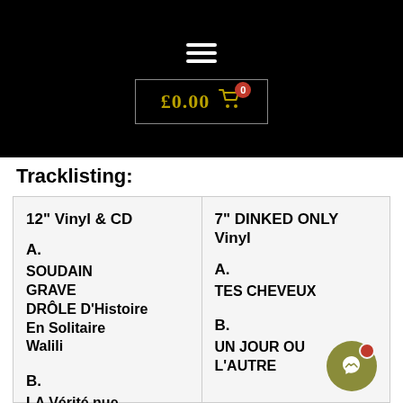≡  £0.00 🛒 0
Tracklisting:
| 12" Vinyl & CD | 7" DINKED ONLY Vinyl |
| --- | --- |
| A. | A. |
| SOUDAIN | TES CHEVEUX |
| GRAVE |  |
| DRÔLE D'Histoire | B. |
| En Solitaire | UN JOUR OU |
| Walili | L'AUTRE |
| B. |  |
| LA Vérité nue |  |
| BIZARRE |  |